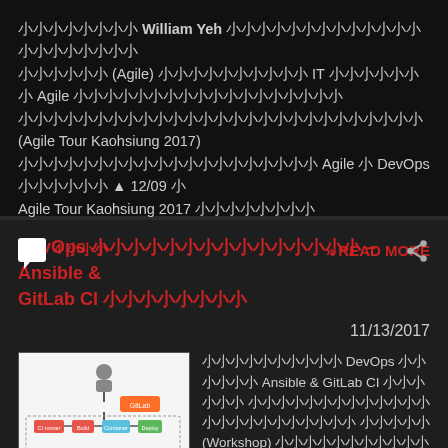由敏捷教練 William Yeh 所帶領的 敏捷 (Agile) 讀書會在 IT 邦幫忙 Agile 技術文章發表後，一年一度的敏捷高雄 (Agile Tour Kaohsiung 2017) 是一年一度推廣 Agile 及 DevOps 的盛會 ▲ 12/09 是 Agile Tour Kaohsiung 2017 的報名連結
4 則回應
» READ MORE
DevOps 從開發到部署實戰 - Ansible & GitLab CI 動手實作
11/13/2017
[Figure (screenshot): Diagram showing CI/CD pipeline with GitLab and Ansible components including CI runner, build, container, and deploy stages]
本課程以 DevOps 為核心使用 Ansible & GitLab CI 實際操作的 動手實作課程 (Workshop) 讓同學親身體驗 持續交付 (Continuous Delivery) 的過程...